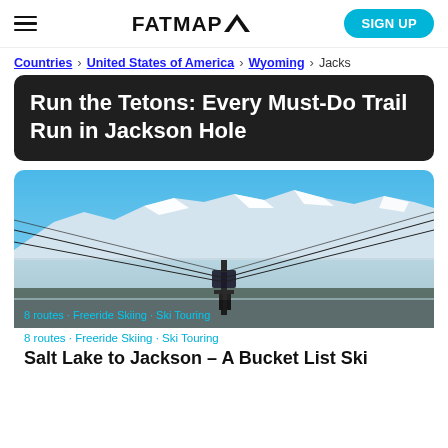FATMAP (logo with mountain icon) | SIGN UP
Countries > United States of America > Wyoming > Jacks...
Run the Tetons: Every Must-Do Trail Run in Jackson Hole
[Figure (photo): Aerial gondola/cable car over a snow-covered mountain valley in Jackson Hole, Wyoming, with the Teton range visible in the background under a clear blue sky]
8 routes · Freeride Skiing · Ski Touring
Salt Lake to Jackson – A Bucket List Ski...